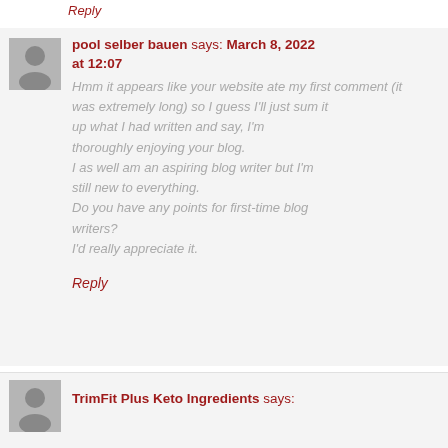Reply
[Figure (illustration): Gray avatar/user placeholder icon for pool selber bauen comment]
pool selber bauen says: March 8, 2022 at 12:07
Hmm it appears like your website ate my first comment (it was extremely long) so I guess I'll just sum it up what I had written and say, I'm thoroughly enjoying your blog.
I as well am an aspiring blog writer but I'm still new to everything.
Do you have any points for first-time blog writers?
I'd really appreciate it.
Reply
[Figure (illustration): Gray avatar/user placeholder icon for TrimFit Plus Keto Ingredients comment]
TrimFit Plus Keto Ingredients says: